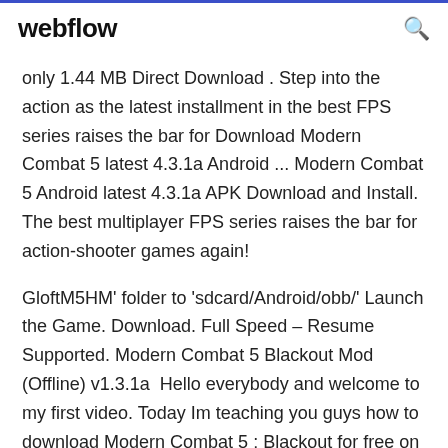webflow
only 1.44 MB Direct Download . Step into the action as the latest installment in the best FPS series raises the bar for Download Modern Combat 5 latest 4.3.1a Android ... Modern Combat 5 Android latest 4.3.1a APK Download and Install. The best multiplayer FPS series raises the bar for action-shooter games again!
GloftM5HM' folder to 'sdcard/Android/obb/' Launch the Game. Download. Full Speed – Resume Supported. Modern Combat 5 Blackout Mod (Offline) v1.3.1a  Hello everybody and welcome to my first video. Today Im teaching you guys how to download Modern Combat 5 : Blackout for free on any Android